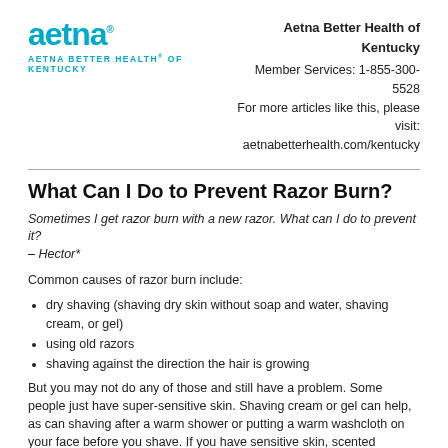Aetna Better Health of Kentucky
Member Services: 1-855-300-5528
For more articles like this, please visit:
aetnabetterhealth.com/kentucky
[Figure (logo): Aetna logo with text 'AETNA BETTER HEALTH® OF KENTUCKY' in teal/cyan color]
What Can I Do to Prevent Razor Burn?
Sometimes I get razor burn with a new razor. What can I do to prevent it? – Hector*
Common causes of razor burn include:
dry shaving (shaving dry skin without soap and water, shaving cream, or gel)
using old razors
shaving against the direction the hair is growing
But you may not do any of those and still have a problem. Some people just have super-sensitive skin. Shaving cream or gel can help, as can shaving after a warm shower or putting a warm washcloth on your face before you shave. If you have sensitive skin, scented products like aftershave can irritate it. Instead, rinse with cool water or put a cool washcloth on your face after shaving to help soothe the skin.
The right shaving technique also can help: